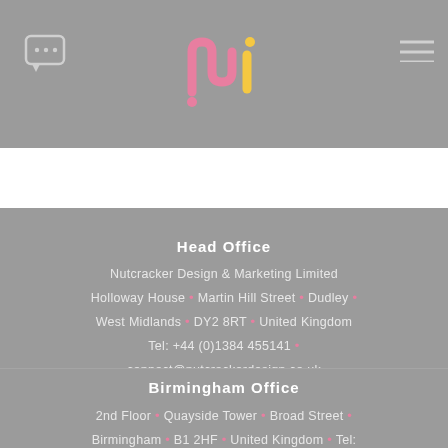[Figure (logo): Nutcracker Design logo - stylized 'nu' letters in pink and yellow on grey background]
Head Office
Nutcracker Design & Marketing Limited
Holloway House • Martin Hill Street • Dudley •
West Midlands • DY2 8RT • United Kingdom
Tel: +44 (0)1384 455141 •
connect@nutcrackerdesign.co.uk
Birmingham Office
2nd Floor • Quayside Tower • Broad Street •
Birmingham • B1 2HF • United Kingdom • Tel: